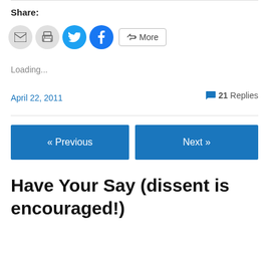Share:
[Figure (other): Social share buttons: email (gray circle), print (gray circle), Twitter (blue circle), Facebook (blue circle), More button (outlined)]
Loading...
April 22, 2011
21 Replies
« Previous
Next »
Have Your Say (dissent is encouraged!)